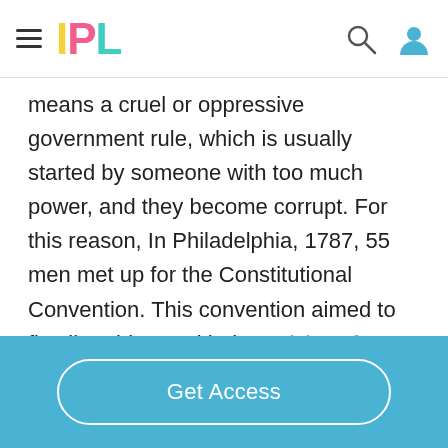IPL
means a cruel or oppressive government rule, which is usually started by someone with too much power, and they become corrupt. For this reason, In Philadelphia, 1787, 55 men met up for the Constitutional Convention. This convention aimed to fix all problems with the Articles of Confederation. However this idea was eventually scrapped and they
Get Access